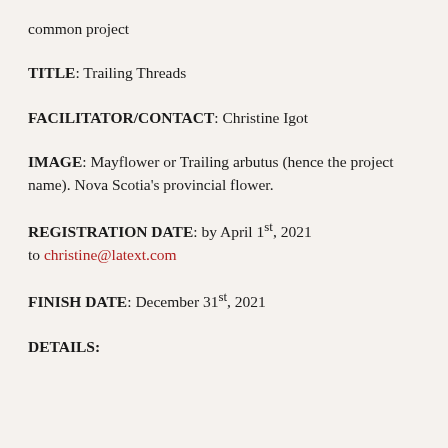common project
TITLE: Trailing Threads
FACILITATOR/CONTACT: Christine Igot
IMAGE: Mayflower or Trailing arbutus (hence the project name). Nova Scotia's provincial flower.
REGISTRATION DATE: by April 1st, 2021 to christine@latext.com
FINISH DATE: December 31st, 2021
DETAILS: